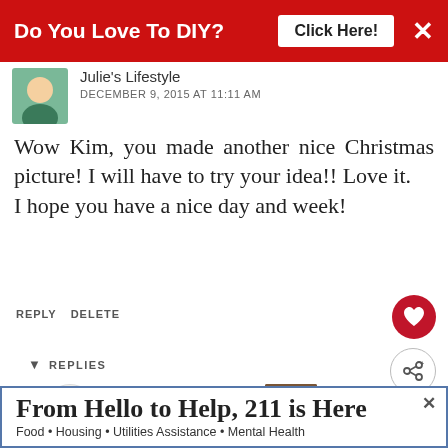[Figure (screenshot): Red ad banner: 'Do You Love To DIY? Click Here!' with X close button]
Julie's Lifestyle
DECEMBER 9, 2015 AT 11:11 AM
Wow Kim, you made another nice Christmas picture! I will have to try your idea!! Love it.
I hope you have a nice day and week!
REPLY DELETE
REPLIES
Kim
DECEMBER 11, 2015 AT 1:25 PM
Thanks so much, Julie! I am
[Figure (screenshot): WHAT'S NEXT arrow label with 'Gift Bag Christmas...' thumbnail image]
[Figure (screenshot): Ad banner: 'From Hello to Help, 211 is Here' with subtitle 'Food • Housing • Utilities Assistance • Mental Health']